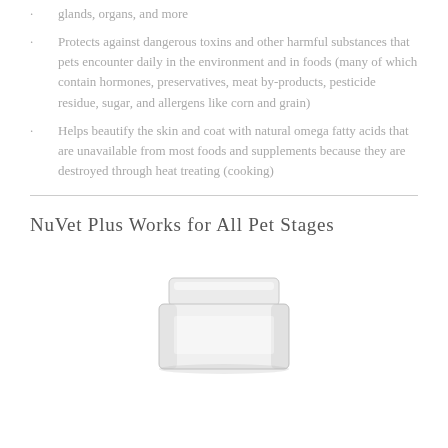glands, organs, and more
Protects against dangerous toxins and other harmful substances that pets encounter daily in the environment and in foods (many of which contain hormones, preservatives, meat by-products, pesticide residue, sugar, and allergens like corn and grain)
Helps beautify the skin and coat with natural omega fatty acids that are unavailable from most foods and supplements because they are destroyed through heat treating (cooking)
NuVet Plus Works for All Pet Stages
[Figure (photo): Product container/jar for NuVet Plus supplement, shown from a slightly elevated angle with lid on top]